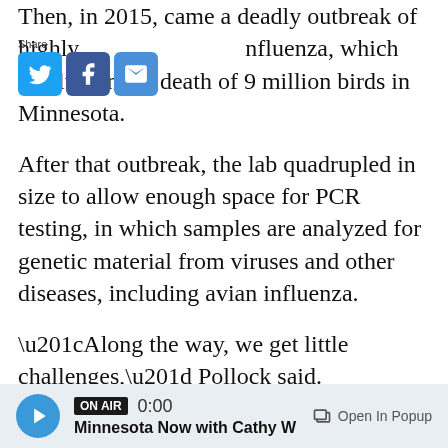Then, in 2015, came a deadly outbreak of highly influenza, which resulted in the death of 9 million birds in Minnesota.
After that outbreak, the lab quadrupled in size to allow enough space for PCR testing, in which samples are analyzed for genetic material from viruses and other diseases, including avian influenza.
“Along the way, we get little challenges,” Pollock said. “Maybe it’s not high-path avian influenza. But we get little hiccups along the way, where we have disease events that we’ve been able to test ourselves and to work this lab. And it works really well.”
[Figure (other): Audio player bar with play button, ON AIR badge, time 0:00, Minnesota Now with Cathy W, Open In Popup button]